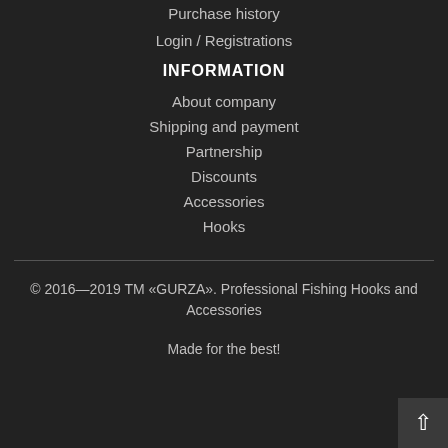Purchase history
Login / Registrations
INFORMATION
About company
Shipping and payment
Partnership
Discounts
Accessories
Hooks
© 2016—2019 TM «GURZA». Professional Fishing Hooks and Accessories
Made for the best!